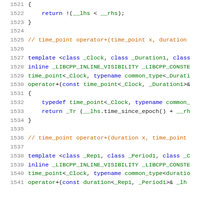[Figure (screenshot): Source code listing (C++ header, chrono library) with line numbers 1521-1541, showing time_point operator+ implementations with syntax highlighting.]